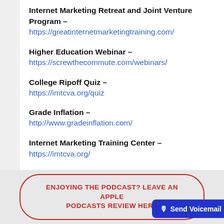Internet Marketing Retreat and Joint Venture Program – https://greatinternetmarketingtraining.com/
Higher Education Webinar – https://screwthecommute.com/webinars/
College Ripoff Quiz – https://imtcva.org/quiz
Grade Inflation – http://www.gradeinflation.com/
Internet Marketing Training Center – https://imtcva.org/
ENJOYING THE PODCAST? LEAVE AN APPLE PODCASTS REVIEW HERE
Send Voicemail